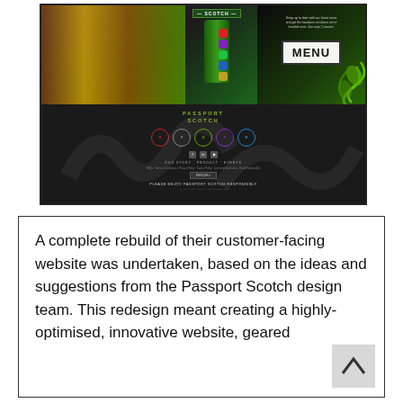[Figure (screenshot): Screenshot of the Passport Scotch website showing a colorful hero image with a green scotch bottle, MENU navigation button, and a dark footer section with the Passport Scotch logo, colored circular badges, social media icons, navigation links, and a 'PLEASE ENJOY PASSPORT SCOTCH RESPONSIBLY' message.]
A complete rebuild of their customer-facing website was undertaken, based on the ideas and suggestions from the Passport Scotch design team. This redesign meant creating a highly-optimised, innovative website, geared